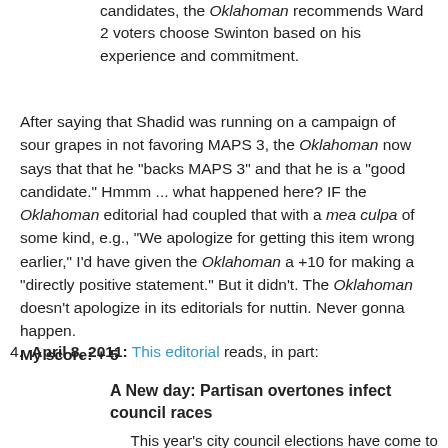candidates, the Oklahoman recommends Ward 2 voters choose Swinton based on his experience and commitment.
After saying that Shadid was running on a campaign of sour grapes in not favoring MAPS 3, the Oklahoman now says that that he "backs MAPS 3" and that he is a "good candidate." Hmmm ... what happened here? IF the Oklahoman editorial had coupled that with a mea culpa of some kind, e.g., "We apologize for getting this item wrong earlier," I'd have given the Oklahoman a +10 for making a "directly positive statement." But it didn't. The Oklahoman doesn't apologize in its editorials for nuttin. Never gonna happen.
My score: + 5
4. April 8, 2011: This editorial reads, in part:
A New day: Partisan overtones infect council races
This year's city council elections have come to an end. And so too, we fear, have the nonpartisan races that have been the